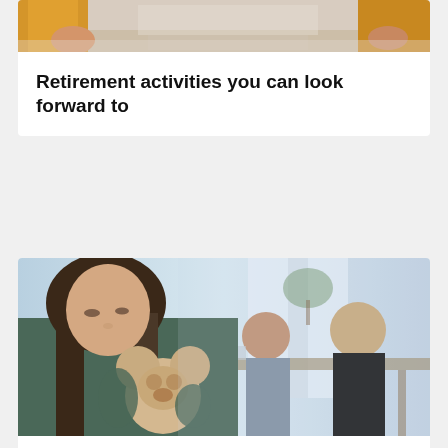[Figure (photo): Cropped photo at top showing person in yellow/orange sweater, hands visible, indoor setting]
Retirement activities you can look forward to
[Figure (photo): Young girl with long brown hair holding a teddy bear, looking down sadly. In the background, two adults (a woman and a man in a suit) appear to be arguing at a table in an office setting.]
Family law – separation and divorce in Australia